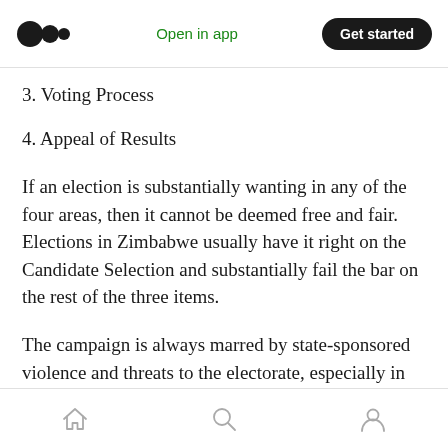Open in app  Get started
3. Voting Process
4. Appeal of Results
If an election is substantially wanting in any of the four areas, then it cannot be deemed free and fair. Elections in Zimbabwe usually have it right on the Candidate Selection and substantially fail the bar on the rest of the three items.
The campaign is always marred by state-sponsored violence and threats to the electorate, especially in rural areas. State media gives
home  search  profile